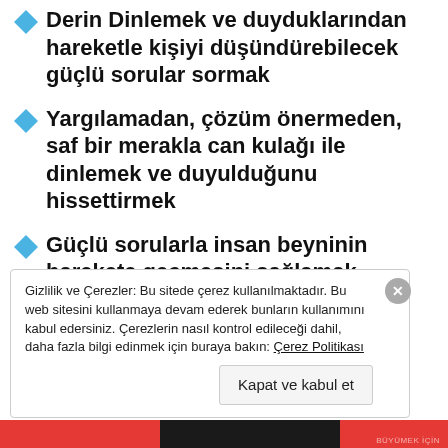Derin Dinlemek ve duyduklarından hareketle kişiyi düşündürebilecek güçlü sorular sormak
Yargılamadan, çözüm önermeden, saf bir merakla can kulağı ile dinlemek ve duyulduğunu hissettirmek
Güçlü sorularla insan beyninin harekete geçmesini sağlamak
Gizlilik ve Çerezler: Bu sitede çerez kullanılmaktadır. Bu web sitesini kullanmaya devam ederek bunların kullanımını kabul edersiniz. Çerezlerin nasıl kontrol edileceği dahil, daha fazla bilgi edinmek için buraya bakın: Çerez Politikası
Kapat ve kabul et